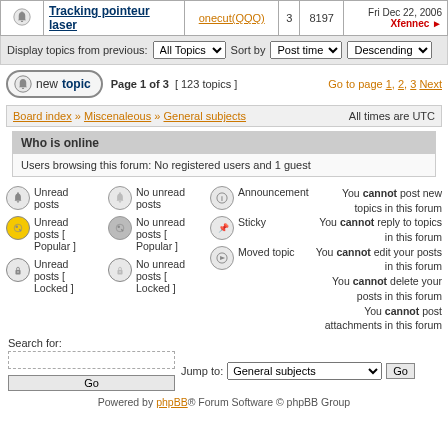|  | Topic | Author | Replies | Views | Last post |
| --- | --- | --- | --- | --- | --- |
| [bell] | Tracking pointeur laser | onecut(QQQ) | 3 | 8197 | Fri Dec 22, 2006 Xfennec + |
Display topics from previous: All Topics ▼  Sort by  Post time ▼  Descending ▼
new topic  Page 1 of 3  [ 123 topics ]  Go to page 1, 2, 3  Next
Board index » Miscenaleous » General subjects   All times are UTC
Who is online
Users browsing this forum: No registered users and 1 guest
Unread posts
No unread posts
Announcement
You cannot post new topics in this forum
You cannot reply to topics in this forum
You cannot edit your posts in this forum
You cannot delete your posts in this forum
You cannot post attachments in this forum
Unread posts [ Popular ]
No unread posts [ Popular ]
Sticky
Unread posts [ Locked ]
No unread posts [ Locked ]
Moved topic
Search for:
Jump to: General subjects  Go
Powered by phpBB® Forum Software © phpBB Group